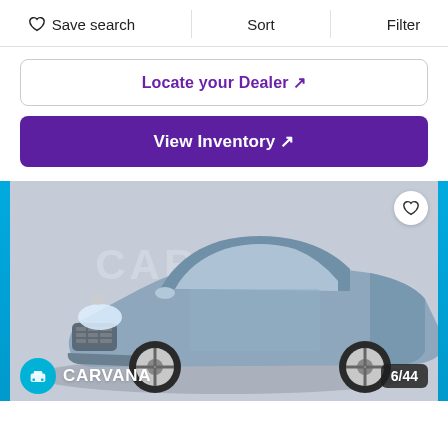Save search   Sort   Filter
Locate your Dealer ↗
View Inventory ↗
[Figure (photo): Blue Chrysler 200 convertible photographed from front-left angle in a studio setting with gray background. Carvana logo and CARVANA text watermark visible in background. Heart/favorite icon in top-right. Photo counter shows 6/44 at bottom-right. Carvana teal logo and wordmark at bottom-left.]